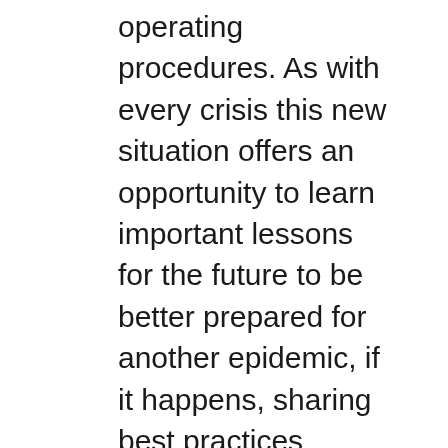operating procedures. As with every crisis this new situation offers an opportunity to learn important lessons for the future to be better prepared for another epidemic, if it happens, sharing best practices among countries and regions might set a good example of how to draw on the international cooperation for a specific purpose of helping those in need. It's up to us to arrive at the right conclusions for the future, and others to emerge from this pandemic better prepared for unfavorable events. We need collaboration both in the field of truck supply and demand reduction, the international community should serve as a vehicle for data collection, experience exchange and discussion on effective methods of reducing the demand for narcotic drugs in times of